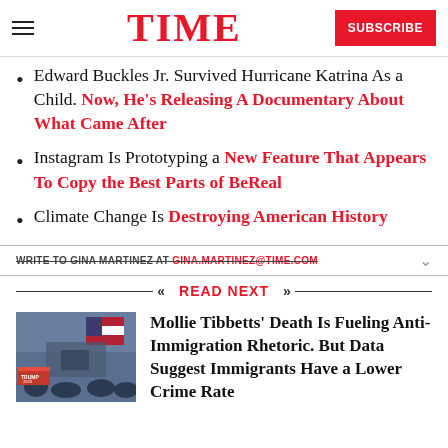TIME — SUBSCRIBE
Edward Buckles Jr. Survived Hurricane Katrina As a Child. Now, He's Releasing A Documentary About What Came After
Instagram Is Prototyping a New Feature That Appears To Copy the Best Parts of BeReal
Climate Change Is Destroying American History
WRITE TO GINA MARTINEZ AT GINA.MARTINEZ@TIME.COM
READ NEXT
Mollie Tibbetts' Death Is Fueling Anti-Immigration Rhetoric. But Data Suggest Immigrants Have a Lower Crime Rate